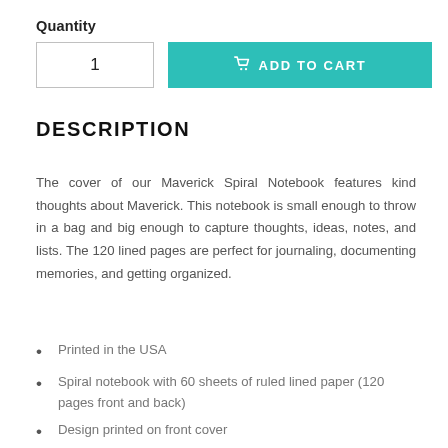Quantity
1
ADD TO CART
DESCRIPTION
The cover of our Maverick Spiral Notebook features kind thoughts about Maverick. This notebook is small enough to throw in a bag and big enough to capture thoughts, ideas, notes, and lists. The 120 lined pages are perfect for journaling, documenting memories, and getting organized.
Printed in the USA
Spiral notebook with 60 sheets of ruled lined paper (120 pages front and back)
Design printed on front cover
Handy document pocket to keep cards and